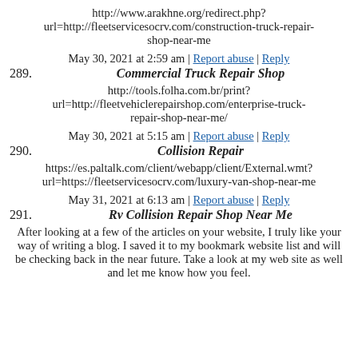http://www.arakhne.org/redirect.php?url=http://fleetservicesocrv.com/construction-truck-repair-shop-near-me
May 30, 2021 at 2:59 am | Report abuse | Reply
289. Commercial Truck Repair Shop
http://tools.folha.com.br/print?url=http://fleetvehiclerepairshop.com/enterprise-truck-repair-shop-near-me/
May 30, 2021 at 5:15 am | Report abuse | Reply
290. Collision Repair
https://es.paltalk.com/client/webapp/client/External.wmt?url=https://fleetservicesocrv.com/luxury-van-shop-near-me
May 31, 2021 at 6:13 am | Report abuse | Reply
291. Rv Collision Repair Shop Near Me
After looking at a few of the articles on your website, I truly like your way of writing a blog. I saved it to my bookmark website list and will be checking back in the near future. Take a look at my web site as well and let me know how you feel.